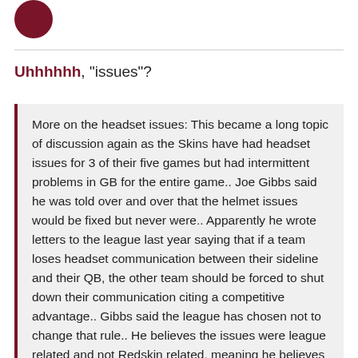[Figure (logo): Circular dark red logo in top left corner]
Uhhhhhh, "issues"?
More on the headset issues: This became a long topic of discussion again as the Skins have had headset issues for 3 of their five games but had intermittent problems in GB for the entire game.. Joe Gibbs said he was told over and over that the helmet issues would be fixed but never were.. Apparently he wrote letters to the league last year saying that if a team loses headset communication between their sideline and their QB, the other team should be forced to shut down their communication citing a competitive advantage.. Gibbs said the league has chosen not to change that rule.. He believes the issues were league related and not Redskin related, meaning he believes their equipment works